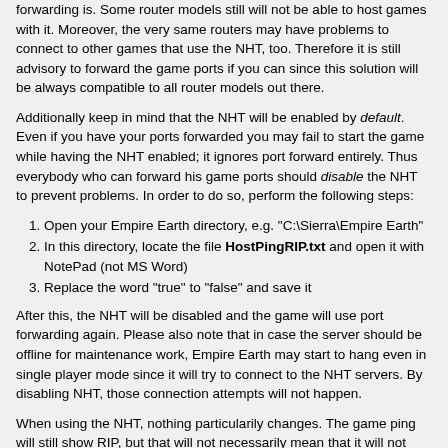forwarding is. Some router models still will not be able to host games with it. Moreover, the very same routers may have problems to connect to other games that use the NHT, too. Therefore it is still advisory to forward the game ports if you can since this solution will be always compatible to all router models out there.
Additionally keep in mind that the NHT will be enabled by default. Even if you have your ports forwarded you may fail to start the game while having the NHT enabled; it ignores port forward entirely. Thus everybody who can forward his game ports should disable the NHT to prevent problems. In order to do so, perform the following steps:
Open your Empire Earth directory, e.g. "C:\Sierra\Empire Earth"
In this directory, locate the file HostPingRIP.txt and open it with NotePad (not MS Word)
Replace the word "true" to "false" and save it
After this, the NHT will be disabled and the game will use port forwarding again. Please also note that in case the server should be offline for maintenance work, Empire Earth may start to hang even in single player mode since it will try to connect to the NHT servers. By disabling NHT, those connection attempts will not happen.
When using the NHT, nothing particularily changes. The game ping will still show RIP, but that will not necessarily mean that it will not start. When all players are ready and the host is pressing "Start game", the